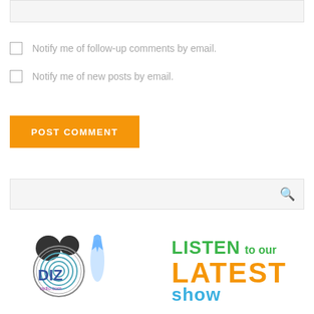[Figure (screenshot): Empty text input box at top of page, light gray background]
Notify me of follow-up comments by email.
Notify me of new posts by email.
POST COMMENT
[Figure (screenshot): Search input box with magnifying glass icon on right]
[Figure (logo): Dizradio.com logo with Mickey Mouse ears and text: LISTEN to our LATEST show]